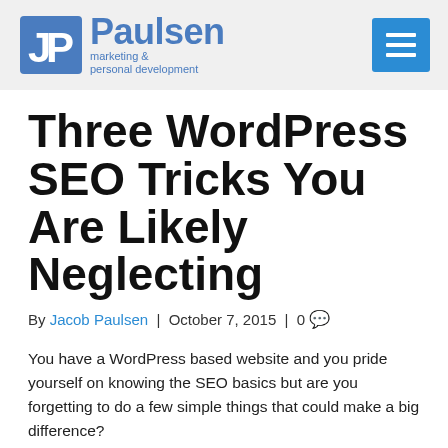JP Paulsen marketing & personal development [logo/header with menu button]
Three WordPress SEO Tricks You Are Likely Neglecting
By Jacob Paulsen | October 7, 2015 | 0
You have a WordPress based website and you pride yourself on knowing the SEO basics but are you forgetting to do a few simple things that could make a big difference?
Table of Contents